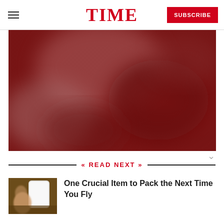TIME | SUBSCRIBE
[Figure (photo): Blurred red-toned photo, appears to be interior of a vehicle or aircraft with reddish ambient light]
READ NEXT
[Figure (photo): Thumbnail of a person on a private jet looking out a window]
One Crucial Item to Pack the Next Time You Fly